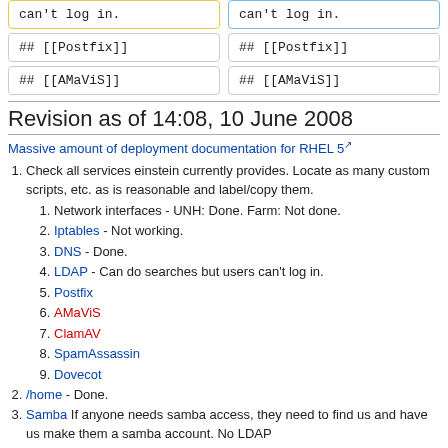can't log in.
can't log in.
## [[Postfix]]
## [[Postfix]]
## [[AMaViS]]
## [[AMaViS]]
Revision as of 14:08, 10 June 2008
Massive amount of deployment documentation for RHEL 5
Check all services einstein currently provides. Locate as many custom scripts, etc. as is reasonable and label/copy them.
Network interfaces - UNH: Done. Farm: Not done.
Iptables - Not working.
DNS - Done.
LDAP - Can do searches but users can't log in.
Postfix
AMaViS
ClamAV
SpamAssassin
Dovecot
/home - Done.
Samba If anyone needs samba access, they need to find us and have us make them a samba account. No LDAP